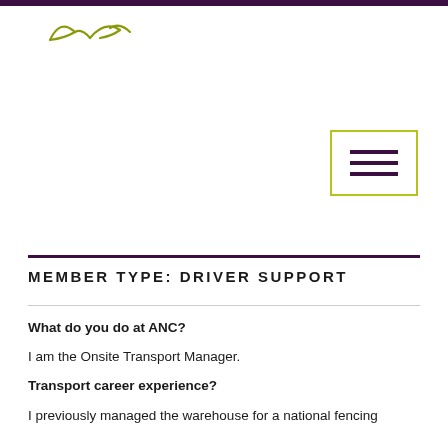[Figure (logo): Stylized cursive/script logo mark in olive/dark yellow-green color]
[Figure (other): Hamburger menu button icon with three horizontal lines, olive/yellow-green border]
MEMBER TYPE: DRIVER SUPPORT
What do you do at ANC?
I am the Onsite Transport Manager.
Transport career experience?
I previously managed the warehouse for a national fencing